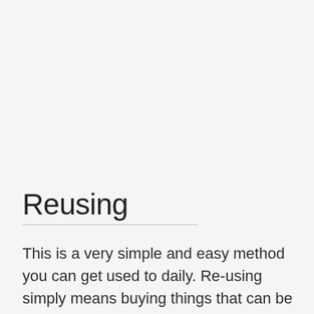Reusing
This is a very simple and easy method you can get used to daily. Re-using simply means buying things that can be used over and over while avoiding those that can be disposed of soon after because some are harmful to